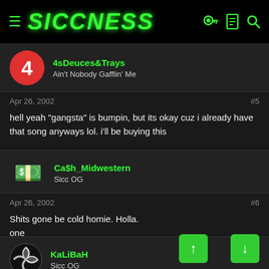SICCNESS
4sDeuces&Trays
Ain't Nobody Gafflin' Me
Apr 26, 2002  #5
hell yeah "gangsta" is bumpin, but its okay cuz i already have that song anyways lol. i'll be buying this
Ca$h_Midwestern
Sicc OG
Apr 26, 2002  #6
Shits gone be cold homie. Holla.
one
KaLiBaH
Sicc OG